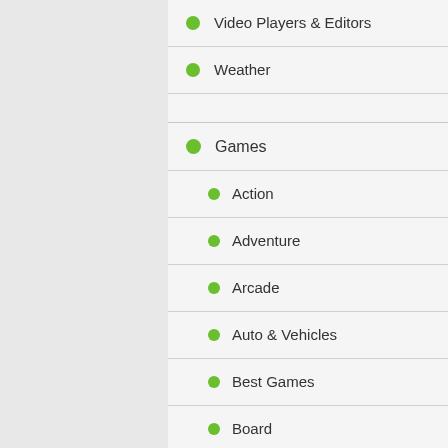Video Players & Editors
Weather
Games
Action
Adventure
Arcade
Auto & Vehicles
Best Games
Board
Card
Casino